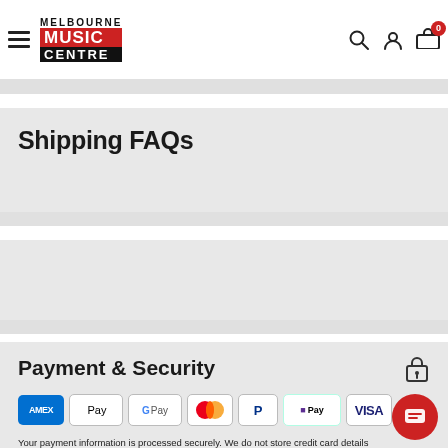[Figure (logo): Melbourne Music Centre logo with hamburger menu and navigation icons including search, user account, and shopping cart with 0 badge]
Shipping FAQs
Payment & Security
[Figure (infographic): Payment method icons: American Express, Apple Pay, Google Pay, Mastercard, PayPal, Afterpay (OPay), Visa]
Your payment information is processed securely. We do not store credit card details nor have access to your credit card information